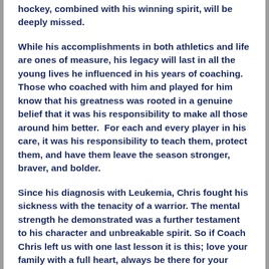hockey, combined with his winning spirit, will be deeply missed.
While his accomplishments in both athletics and life are ones of measure, his legacy will last in all the young lives he influenced in his years of coaching.  Those who coached with him and played for him know that his greatness was rooted in a genuine belief that it was his responsibility to make all those around him better.  For each and every player in his care, it was his responsibility to teach them, protect them, and have them leave the season stronger, braver, and bolder.
Since his diagnosis with Leukemia, Chris fought his sickness with the tenacity of a warrior. The mental strength he demonstrated was a further testament to his character and unbreakable spirit. So if Coach Chris left us with one last lesson it is this; love your family with a full heart, always be there for your friends and, from the moment the puck drops give all the blood, sweat, and tears you have to give...and fight the 'hard